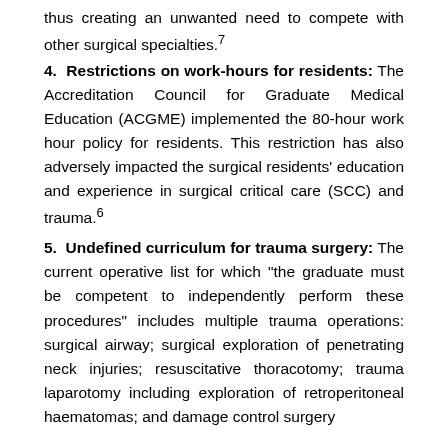thus creating an unwanted need to compete with other surgical specialties.7
4. Restrictions on work-hours for residents: The Accreditation Council for Graduate Medical Education (ACGME) implemented the 80-hour work hour policy for residents. This restriction has also adversely impacted the surgical residents' education and experience in surgical critical care (SCC) and trauma.6
5. Undefined curriculum for trauma surgery: The current operative list for which "the graduate must be competent to independently perform these procedures" includes multiple trauma operations: surgical airway; surgical exploration of penetrating neck injuries; resuscitative thoracotomy; trauma laparotomy including exploration of retroperitoneal haematomas; and damage control surgery